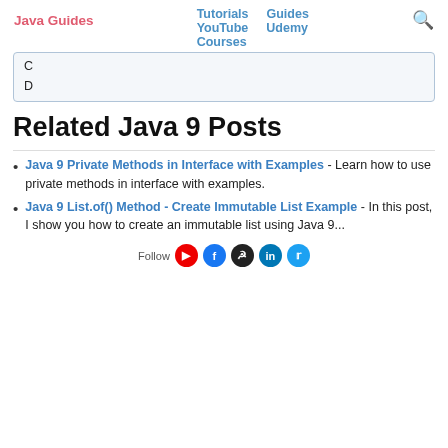Java Guides | Tutorials | Guides | YouTube | Udemy | Courses
| C |
| D |
Related Java 9 Posts
Java 9 Private Methods in Interface with Examples - Learn how to use private methods in interface with examples.
Java 9 List.of() Method - Create Immutable List Example - In this post, I show you how to create an immutable list using Java 9...
Follow [social icons: YouTube, Facebook, GitHub, LinkedIn, Twitter]